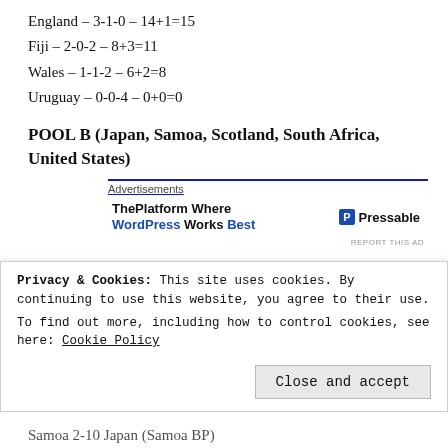England – 3-1-0 – 14+1=15
Fiji – 2-0-2 – 8+3=11
Wales – 1-1-2 – 6+2=8
Uruguay – 0-0-4 – 0+0=0
POOL B (Japan, Samoa, Scotland, South Africa, United States)
[Figure (other): Advertisement banner: ThePlatform Where WordPress Works Best | Pressable]
Japan 22-21 South Africa (South Africa BP)
Samoa 26-22 United States (Samoa and United States...
Privacy & Cookies: This site uses cookies. By continuing to use this website, you agree to their use. To find out more, including how to control cookies, see here: Cookie Policy
Close and accept
Samoa 2-10 Japan (Samoa BP)